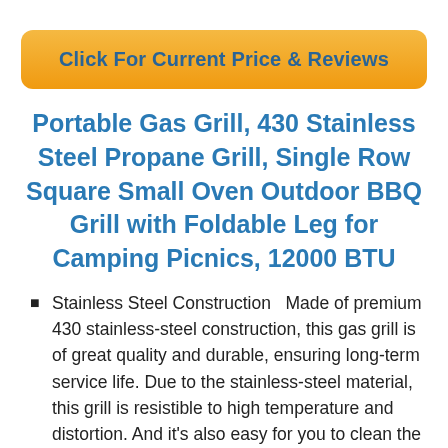[Figure (other): Orange rounded button with text 'Click For Current Price & Reviews']
Portable Gas Grill, 430 Stainless Steel Propane Grill, Single Row Square Small Oven Outdoor BBQ Grill with Foldable Leg for Camping Picnics, 12000 BTU
Stainless Steel Construction   Made of premium 430 stainless-steel construction, this gas grill is of great quality and durable, ensuring long-term service life. Due to the stainless-steel material, this grill is resistible to high temperature and distortion. And it's also easy for you to clean the